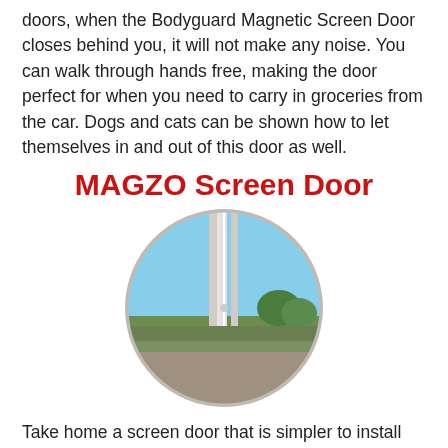doors, when the Bodyguard Magnetic Screen Door closes behind you, it will not make any noise. You can walk through hands free, making the door perfect for when you need to carry in groceries from the car. Dogs and cats can be shown how to let themselves in and out of this door as well.
MAGZO Screen Door
[Figure (photo): Circular cropped photo showing a magnetic screen door partially open, split down the middle. Left half shows the door frame/screen edge, right half shows an outdoor view with blue sky, trees, and a deck/patio area.]
Take home a screen door that is simpler to install and quieter than a regular screen door with the MAGZO Magnetic Screen Door 32×80 . By installing the MAGZO Magnetic Screen Door, you can enjoy a screen door that